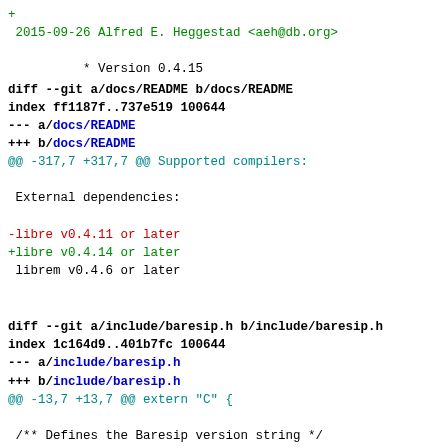+ 2015-09-26 Alfred E. Heggestad <aeh@db.org>
* Version 0.4.15
diff --git a/docs/README b/docs/README
index ff1187f..737e519 100644
--- a/docs/README
+++ b/docs/README
@@ -317,7 +317,7 @@ Supported compilers:

 External dependencies:

-libre v0.4.11 or later
+libre v0.4.14 or later
 librem v0.4.6 or later
diff --git a/include/baresip.h b/include/baresip.h
index 1c164d9..401b7fc 100644
--- a/include/baresip.h
+++ b/include/baresip.h
@@ -13,7 +13,7 @@ extern "C" {

 /** Defines the Baresip version string */
-#define BARESIP_VERSION "0.4.15"
+#define BARESIP_VERSION "0.4.16"